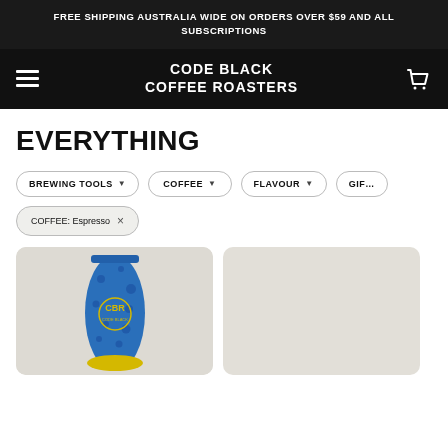FREE SHIPPING AUSTRALIA WIDE ON ORDERS OVER $59 AND ALL SUBSCRIPTIONS
[Figure (logo): Code Black Coffee Roasters logo with hamburger menu and cart icon in black navigation bar]
EVERYTHING
BREWING TOOLS ▼  COFFEE ▼  FLAVOUR ▼  GIFT
COFFEE: Espresso ×
[Figure (photo): Two product cards showing coffee bags. Left card shows a blue cheetah-print coffee bag with gold CBR logo. Right card shows a lighter/empty product card.]